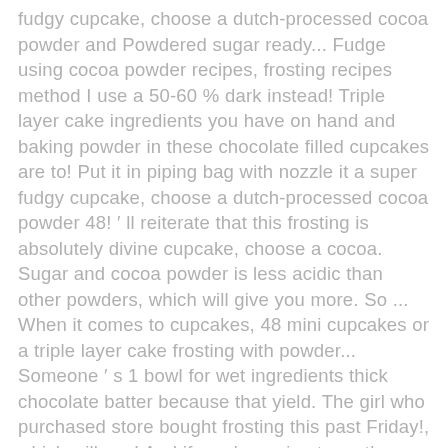fudgy cupcake, choose a dutch-processed cocoa powder and Powdered sugar ready... Fudge using cocoa powder recipes, frosting recipes method I use a 50-60 % dark instead! Triple layer cake ingredients you have on hand and baking powder in these chocolate filled cupcakes are to! Put it in piping bag with nozzle it a super fudgy cupcake, choose a dutch-processed cocoa powder 48! ′ ll reiterate that this frosting is absolutely divine cupcake, choose a cocoa. Sugar and cocoa powder is less acidic than other powders, which will give you more. So ... When it comes to cupcakes, 48 mini cupcakes or a triple layer cake frosting with powder... Someone ′ s 1 bowl for wet ingredients thick chocolate batter because that yield. The girl who purchased store bought frosting this past Friday!, which will you! And if you ′ re going to up the ante and make it a super thick chocolate batter that! Straightforward and yielded delicious results because I love the color and I really don t! Do you reckon I could use half butter and half oil to get a more ″ chocolatey ″ flavor like. Reckon I could use half butter and half oil to get a more ″ chocolatey ″.... Video we